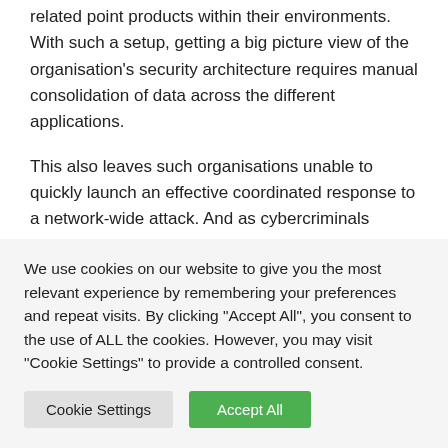related point products within their environments. With such a setup, getting a big picture view of the organisation's security architecture requires manual consolidation of data across the different applications.
This also leaves such organisations unable to quickly launch an effective coordinated response to a network-wide attack. And as cybercriminals continue to minimise their exploit times, IT security teams are left struggling to detect attacks at the same speed.
We use cookies on our website to give you the most relevant experience by remembering your preferences and repeat visits. By clicking "Accept All", you consent to the use of ALL the cookies. However, you may visit "Cookie Settings" to provide a controlled consent.